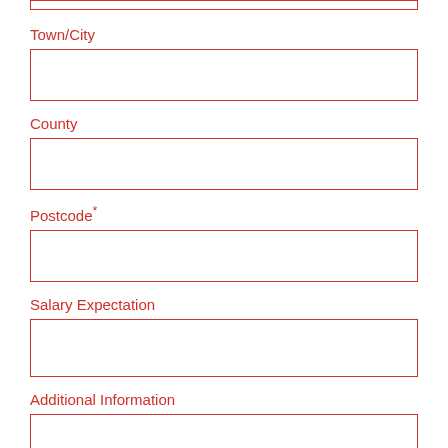Town/City
County
Postcode*
Salary Expectation
Additional Information